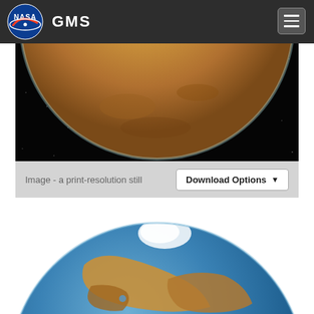GMS
[Figure (photo): NASA GMS website screenshot showing a partial view of Mars - reddish-orange planet against black starry space background, cropped to show lower hemisphere.]
Image - a print-resolution still
Download Options ▾
[Figure (photo): Globe/sphere showing a terraformed or artistic Mars with blue oceans and orange-brown landmasses, with white clouds visible near the top.]